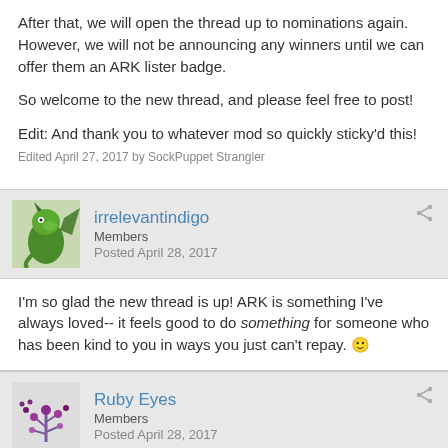After that, we will open the thread up to nominations again. However, we will not be announcing any winners until we can offer them an ARK lister badge.

So welcome to the new thread, and please feel free to post!

Edit: And thank you to whatever mod so quickly sticky'd this!
Edited April 27, 2017 by SockPuppet Strangler
irrelevantindigo
Members
Posted April 28, 2017
I'm so glad the new thread is up! ARK is something I've always loved-- it feels good to do something for someone who has been kind to you in ways you just can't repay. 🙂
Ruby Eyes
Members
Posted April 28, 2017
Typo?
Quote